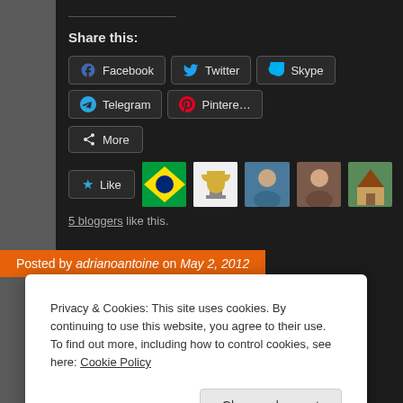Share this:
[Figure (screenshot): Social share buttons: Facebook, Twitter, Skype, Telegram, Pinterest, More]
[Figure (screenshot): Like button with 5 blogger avatars]
5 bloggers like this.
Posted by adrianoantoine on May 2, 2012
Privacy & Cookies: This site uses cookies. By continuing to use this website, you agree to their use.
To find out more, including how to control cookies, see here: Cookie Policy
Close and accept